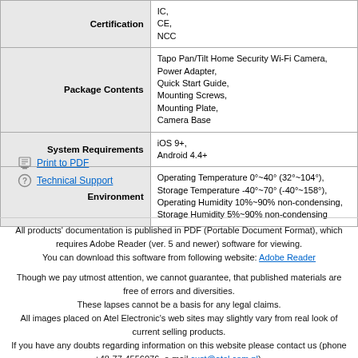|  |  |
| --- | --- |
| Certification | IC,
CE,
NCC |
| Package Contents | Tapo Pan/Tilt Home Security Wi-Fi Camera,
Power Adapter,
Quick Start Guide,
Mounting Screws,
Mounting Plate,
Camera Base |
| System Requirements | iOS 9+,
Android 4.4+ |
| Environment | Operating Temperature 0°~40° (32°~104°),
Storage Temperature -40°~70° (-40°~158°),
Operating Humidity 10%~90% non-condensing,
Storage Humidity 5%~90% non-condensing |
Print to PDF
Technical Support
All products' documentation is published in PDF (Portable Document Format), which requires Adobe Reader (ver. 5 and newer) software for viewing.
You can download this software from following website: Adobe Reader
Though we pay utmost attention, we cannot guarantee, that published materials are free of errors and diversities.
These lapses cannot be a basis for any legal claims.
All images placed on Atel Electronic's web sites may slightly vary from real look of current selling products.
If you have any doubts regarding information on this website please contact us (phone +48-77-4556076, e-mail cust@atel.com.pl).